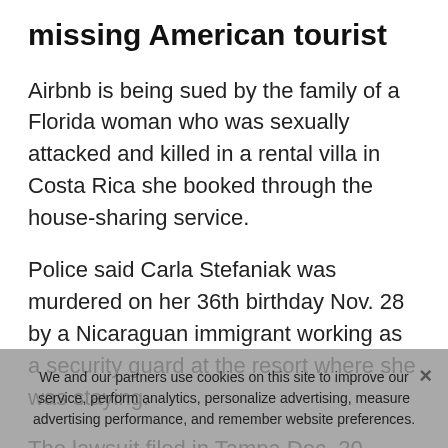missing American tourist
Airbnb is being sued by the family of a Florida woman who was sexually attacked and killed in a rental villa in Costa Rica she booked through the house-sharing service.
Police said Carla Stefaniak was murdered on her 36th birthday Nov. 28 by a Nicaraguan immigrant working as a security guard at the resort where she was staying.
The lawsuit filed in Tampa Dec. 20 seeks damages for negligence. Fox 13 Tampa reported. The resort is also named as a defendant. Stefaniak's two brothers brought the lawsuit.
We and our partners use cookies on this site to improve our service, perform analytics, personalize advertising, measure advertising performance, and remember website preferences.